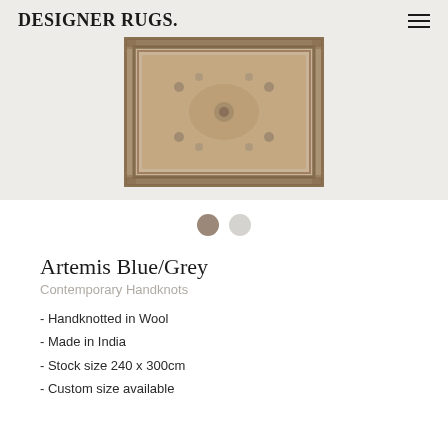DESIGNER RUGS.
[Figure (photo): A rectangular oriental-style rug with blue/grey and beige tones, handknotted pattern with floral and geometric motifs, photographed from above on a light background.]
[Figure (other): Two circular color swatches: a taupe/brown swatch (selected) and a light grey swatch.]
Artemis Blue/Grey
Contemporary Handknots
- Handknotted in Wool
- Made in India
- Stock size 240 x 300cm
- Custom size available